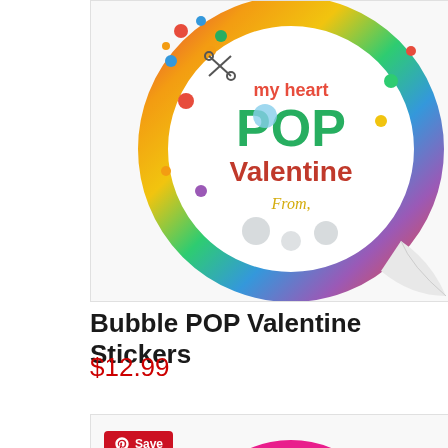[Figure (photo): Bubble POP Valentine sticker with colorful polka dots and stripes border, peeling corner effect, text reading 'my heart POP Valentine From,']
Bubble POP Valentine Stickers
$12.99
[Figure (photo): Snappy alligator Valentine sticker with pink polka dot border, green alligator in center, text 'SNAPPY' and 'Valentine's Day']